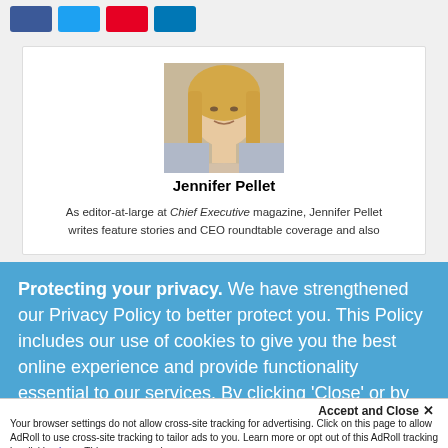[Figure (other): Social media share buttons: Facebook (blue), Twitter (light blue), Pinterest (red), LinkedIn (dark blue)]
[Figure (photo): Headshot photo of Jennifer Pellet, a woman with long blonde hair]
Jennifer Pellet
As editor-at-large at Chief Executive magazine, Jennifer Pellet writes feature stories and CEO roundtable coverage and also
Protecting your privacy. We have strengthened our Privacy Policy to better protect you. This Policy includes our use of cookies to give you the best online experience and provide functionality essential to our services. By clicking 'Close' or by continuing to use our website, you are consenting to our
Accept and Close ✕
Your browser settings do not allow cross-site tracking for advertising. Click on this page to allow AdRoll to use cross-site tracking to tailor ads to you. Learn more or opt out of this AdRoll tracking by clicking here. This message only appears once.